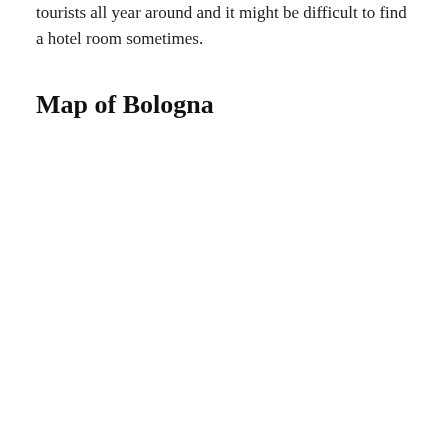tourists all year around and it might be difficult to find a hotel room sometimes.
Map of Bologna